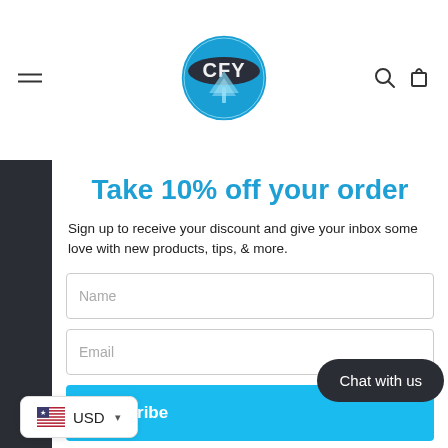CFY logo header with menu icon, search, and cart
Take 10% off your order
Sign up to receive your discount and give your inbox some love with new products, tips, & more.
Name (input field)
Email (input field)
Subscribe (button)
Chat with us
USD